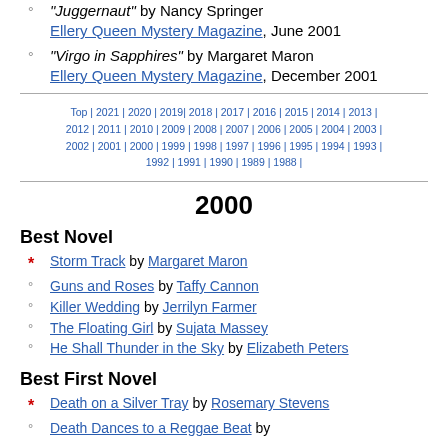"Juggernaut" by Nancy Springer — Ellery Queen Mystery Magazine, June 2001
"Virgo in Sapphires" by Margaret Maron — Ellery Queen Mystery Magazine, December 2001
Top | 2021 | 2020 | 2019 | 2018 | 2017 | 2016 | 2015 | 2014 | 2013 | 2012 | 2011 | 2010 | 2009 | 2008 | 2007 | 2006 | 2005 | 2004 | 2003 | 2002 | 2001 | 2000 | 1999 | 1998 | 1997 | 1996 | 1995 | 1994 | 1993 | 1992 | 1991 | 1990 | 1989 | 1988 |
2000
Best Novel
* Storm Track by Margaret Maron
° Guns and Roses by Taffy Cannon
° Killer Wedding by Jerrilyn Farmer
° The Floating Girl by Sujata Massey
° He Shall Thunder in the Sky by Elizabeth Peters
Best First Novel
* Death on a Silver Tray by Rosemary Stevens
° Death Dances to a Reggae Beat by